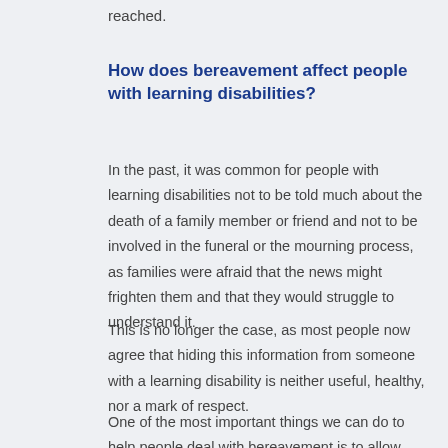reached.
How does bereavement affect people with learning disabilities?
In the past, it was common for people with learning disabilities not to be told much about the death of a family member or friend and not to be involved in the funeral or the mourning process, as families were afraid that the news might frighten them and that they would struggle to understand it.
This is no longer the case, as most people now agree that hiding this information from someone with a learning disability is neither useful, healthy, nor a mark of respect.
One of the most important things we can do to help people deal with bereavement is to allow them to prepare